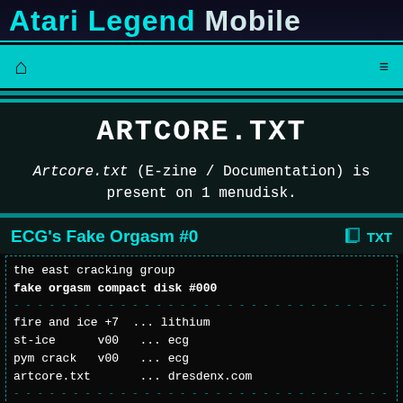Atari Legend Mobile
[Figure (other): Navigation bar with home icon and hamburger menu on cyan background]
ARTCORE.TXT
Artcore.txt (E-zine / Documentation) is present on 1 menudisk.
ECG's Fake Orgasm #0
the east cracking group
fake orgasm compact disk #000
---
fire and ice +7   ... lithium
st-ice      v00   ... ecg
pym crack   v00   ... ecg
artcore.txt       ... dresdenx.com
---
members: melcus